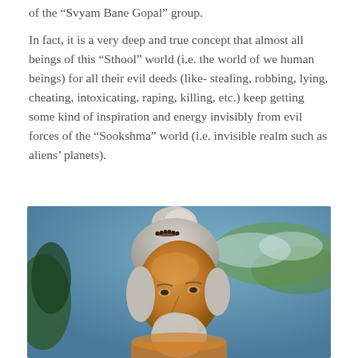of the “Svyam Bane Gopal” group.
In fact, it is a very deep and true concept that almost all beings of this “Sthool” world (i.e. the world of we human beings) for all their evil deeds (like- stealing, robbing, lying, cheating, intoxicating, raping, killing, etc.) keep getting some kind of inspiration and energy invisibly from evil forces of the “Sookshma” world (i.e. invisible realm such as aliens’ planets).
[Figure (illustration): Painting of an elderly Indian sage or holy man with white hair tied up in a bun adorned with a dark bead necklace, orange-tinted face with a white beard, set against a blue-green background with clouds.]